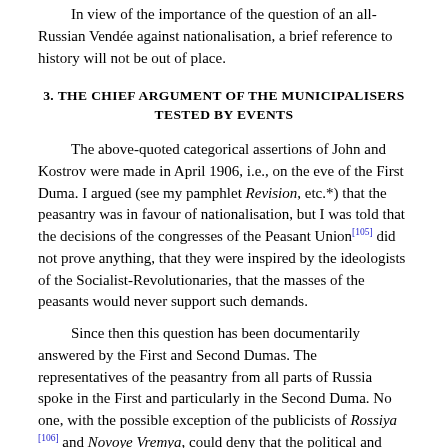In view of the importance of the question of an all-Russian Vendée against nationalisation, a brief reference to history will not be out of place.
3. THE CHIEF ARGUMENT OF THE MUNICIPALISERS TESTED BY EVENTS
The above-quoted categorical assertions of John and Kostrov were made in April 1906, i.e., on the eve of the First Duma. I argued (see my pamphlet Revision, etc.*) that the peasantry was in favour of nationalisation, but I was told that the decisions of the congresses of the Peasant Union[105] did not prove anything, that they were inspired by the ideologists of the Socialist-Revolutionaries, that the masses of the peasants would never support such demands.
Since then this question has been documentarily answered by the First and Second Dumas. The representatives of the peasantry from all parts of Russia spoke in the First and particularly in the Second Duma. No one, with the possible exception of the publicists of Rossiya [106] and Novoye Vremya, could deny that the political and economic demands of the peasant masses found expression in both those Dumas. One would have thought that the idea of nationalising the